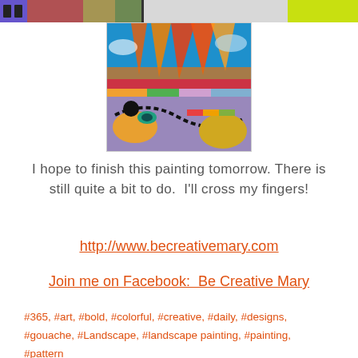[Figure (illustration): Top strip showing partial artwork thumbnails in a filmstrip-like arrangement with colorful patterns]
[Figure (photo): Colorful abstract landscape painting with swirling patterns, sunset sky with orange and red streaks, and vivid abstract ground shapes in blue, yellow, green, and orange tones with dotted black lines]
I hope to finish this painting tomorrow. There is still quite a bit to do.  I'll cross my fingers!
http://www.becreativemary.com
Join me on Facebook:  Be Creative Mary
#365, #art, #bold, #colorful, #creative, #daily, #designs, #gouache, #Landscape, #landscape painting, #painting, #pattern